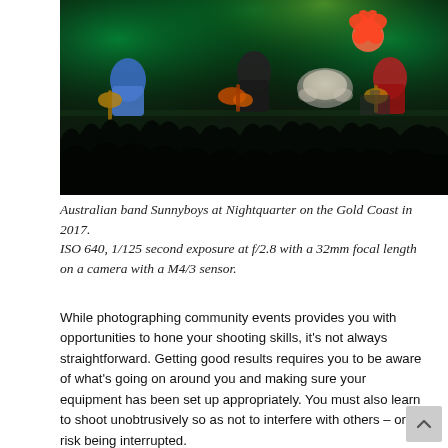[Figure (photo): Concert photo of Australian band Sunnyboys performing on stage at Nightquarter on the Gold Coast in 2017. Three band members are visible playing guitars, a drummer is in the background, green stage lighting illuminates the scene, and a large crowd silhouette fills the foreground.]
Australian band Sunnyboys at Nightquarter on the Gold Coast in 2017.
ISO 640, 1/125 second exposure at f/2.8 with a 32mm focal length on a camera with a M4/3 sensor.
While photographing community events provides you with opportunities to hone your shooting skills, it's not always straightforward. Getting good results requires you to be aware of what's going on around you and making sure your equipment has been set up appropriately. You must also learn to shoot unobtrusively so as not to interfere with others – or risk being interrupted.